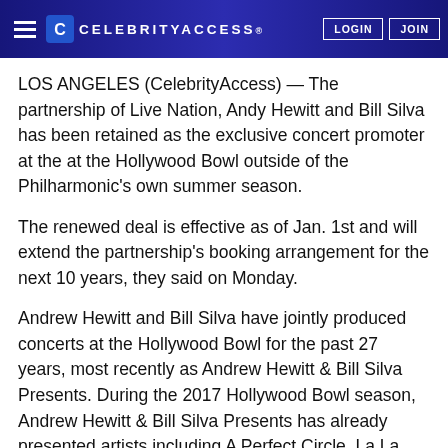CELEBRITYACCESS. LOGIN JOIN
LOS ANGELES (CelebrityAccess) — The partnership of Live Nation, Andy Hewitt and Bill Silva has been retained as the exclusive concert promoter at the at the Hollywood Bowl outside of the Philharmonic's own summer season.
The renewed deal is effective as of Jan. 1st and will extend the partnership's booking arrangement for the next 10 years, they said on Monday.
Andrew Hewitt and Bill Silva have jointly produced concerts at the Hollywood Bowl for the past 27 years, most recently as Andrew Hewitt & Bill Silva Presents. During the 2017 Hollywood Bowl season, Andrew Hewitt & Bill Silva Presents has already presented artists including A Perfect Circle, La La Land in Concert, Dead & Company, New Kids on the Block, Jason Mraz and Queen with Adam Lambert. Past Hollywood Bowl seasons have featured productions such as the Rolling Stones, Elton John, Morrissey, Genesis,